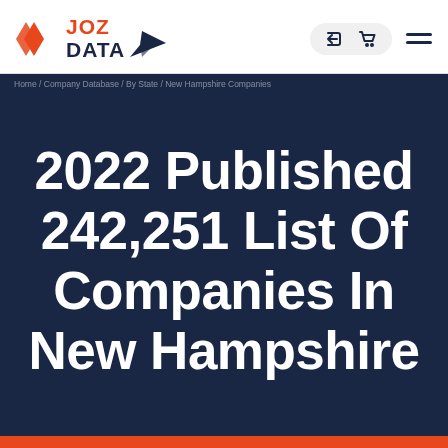[Figure (logo): JOZ DATA logo with orange angular diamond icon, orange JOZ text, dark navy DATA text, and a paper airplane arrow icon in dark navy]
2022 Published 242,251 List Of Companies In New Hampshire